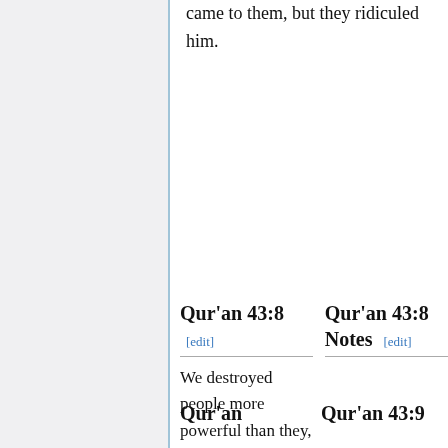came to them, but they ridiculed him.
Qur'an 43:8 [edit]
Qur'an 43:8 Notes [edit]
We destroyed people more powerful than they, and so the example of the ancients has passed away.
Qur'an
Qur'an 43:9